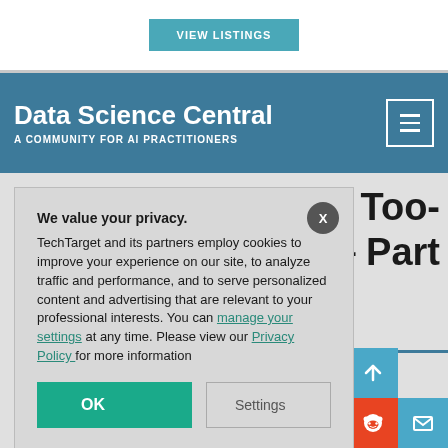[Figure (screenshot): VIEW LISTINGS button in teal on white bar]
Data Science Central — A COMMUNITY FOR AI PRACTITIONERS
We value your privacy. TechTarget and its partners employ cookies to improve your experience on our site, to analyze traffic and performance, and to serve personalized content and advertising that are relevant to your professional interests. You can manage your settings at any time. Please view our Privacy Policy for more information
and Too- R — Part